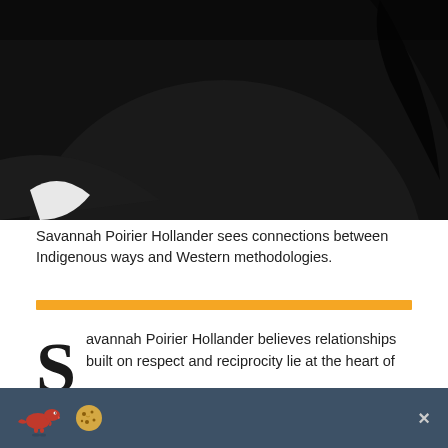[Figure (photo): Close-up photo of a person wearing a black top with dark hair, against a dark background]
Savannah Poirier Hollander sees connections between Indigenous ways and Western methodologies.
[Figure (other): Orange horizontal divider bar]
Savannah Poirier Hollander believes relationships built on respect and reciprocity lie at the heart of successful teaching and learning. As she embarks on her
[Figure (other): Dark blue-grey cookie consent banner with dinosaur and cookie icons and a close (x) button]